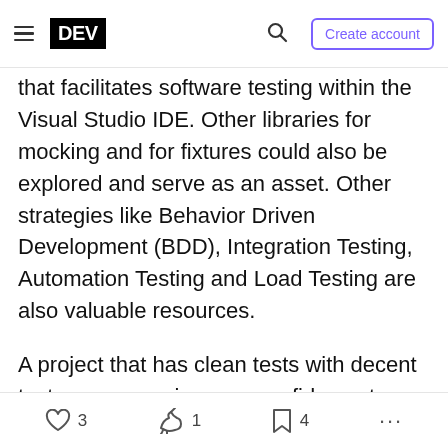DEV | Create account
that facilitates software testing within the Visual Studio IDE. Other libraries for mocking and for fixtures could also be explored and serve as an asset. Other strategies like Behavior Driven Development (BDD), Integration Testing, Automation Testing and Load Testing are also valuable resources.
A project that has clean tests with decent test coverage, gives me confidence to make changes to code. Therefore make sure your code is clean and your tests are also clean.
3 likes  1 unicorn  4 bookmarks  more options